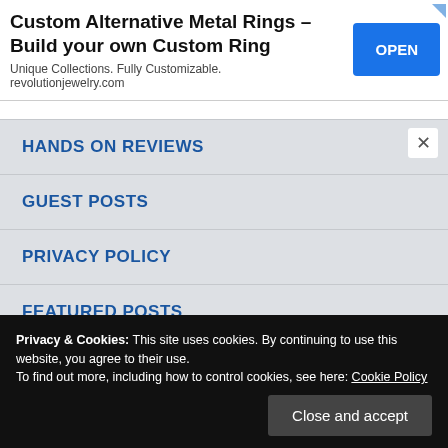[Figure (screenshot): Advertisement banner: Custom Alternative Metal Rings - Build your own Custom Ring. Unique Collections. Fully Customizable. revolutionjewelry.com. Blue OPEN button.]
HANDS ON REVIEWS
GUEST POSTS
PRIVACY POLICY
FEATURED POSTS
ABOUT US
Privacy & Cookies: This site uses cookies. By continuing to use this website, you agree to their use.
To find out more, including how to control cookies, see here: Cookie Policy
FEATURED POSTS